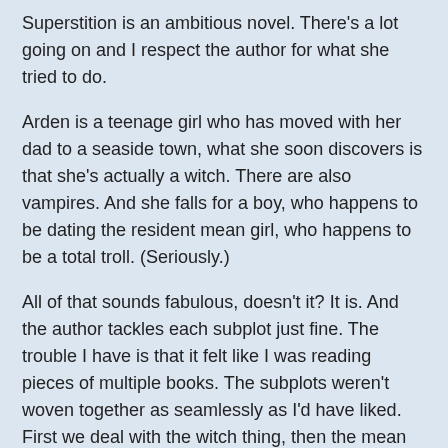Superstition is an ambitious novel. There's a lot going on and I respect the author for what she tried to do.
Arden is a teenage girl who has moved with her dad to a seaside town, what she soon discovers is that she's actually a witch. There are also vampires. And she falls for a boy, who happens to be dating the resident mean girl, who happens to be a total troll. (Seriously.)
All of that sounds fabulous, doesn't it? It is. And the author tackles each subplot just fine. The trouble I have is that it felt like I was reading pieces of multiple books. The subplots weren't woven together as seamlessly as I'd have liked. First we deal with the witch thing, then the mean girl, then the vampires, add in some ghosts, then back to the witch thing, and so on. It felt like when Arden was dealing with one problem, all of the other problems ceased to exist. They conveniently moved to the back burner. Weaving together so many subplots is not easy though, so I give her points for the effort. I know she must have worked her butt off at it.
I also had trouble connecting with Arden, especially because we're told that she's sort of gloomy and never smiles. Somehow she had friends at her old school, but can't figure out why she doesn't have friends at her new school. It actually took me by surprise when Arden